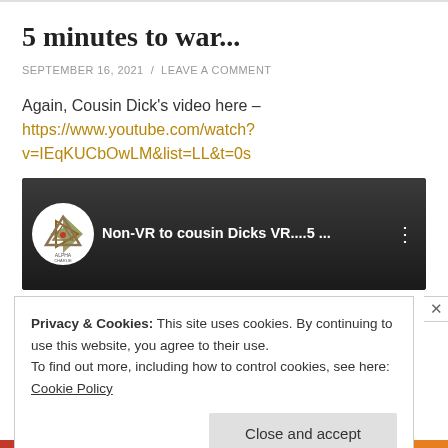5 minutes to war...
SEPTEMBER 16, 2021 / LEAVE A COMMENT
Again, Cousin Dick's video here – https://www.youtube.com/watch?v=IEqKUCbOwLM&list=LL&t=0s
[Figure (screenshot): YouTube video thumbnail showing 'Non-VR to cousin Dicks VR....5 ...' with Alpha Charlie logo]
Privacy & Cookies: This site uses cookies. By continuing to use this website, you agree to their use.
To find out more, including how to control cookies, see here: Cookie Policy